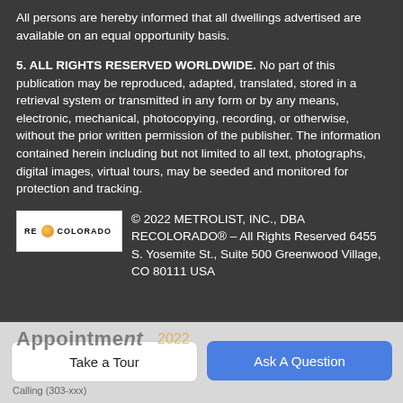All persons are hereby informed that all dwellings advertised are available on an equal opportunity basis.
5. ALL RIGHTS RESERVED WORLDWIDE. No part of this publication may be reproduced, adapted, translated, stored in a retrieval system or transmitted in any form or by any means, electronic, mechanical, photocopying, recording, or otherwise, without the prior written permission of the publisher. The information contained herein including but not limited to all text, photographs, digital images, virtual tours, may be seeded and monitored for protection and tracking.
© 2022 METROLIST, INC., DBA RECOLORADO® – All Rights Reserved 6455 S. Yosemite St., Suite 500 Greenwood Village, CO 80111 USA
Take a Tour
Ask A Question